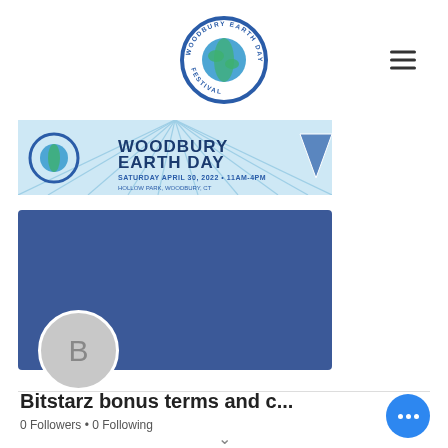[Figure (logo): Woodbury Earth Day Festival circular logo with globe in center and text around the border]
[Figure (banner): Woodbury Earth Day banner: WOODBURY EARTH DAY, Saturday April 30, 2022 • 11am-4pm, Hollow Park, Woodbury, CT]
[Figure (screenshot): Social profile cover image in dark blue, with Follow button and three-dot menu, and avatar circle with letter B]
Bitstarz bonus terms and c...
0 Followers • 0 Following